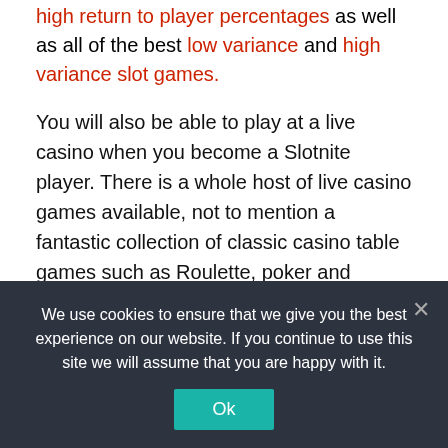high return to player percentages as well as all of the best low variance and high variance slot games.
You will also be able to play at a live casino when you become a Slotnite player. There is a whole host of live casino games available, not to mention a fantastic collection of classic casino table games such as Roulette, poker and Blackjack.
IS SLOTNITE CASINO MOBILE FRIENDLY?
We use cookies to ensure that we give you the best experience on our website. If you continue to use this site we will assume that you are happy with it.